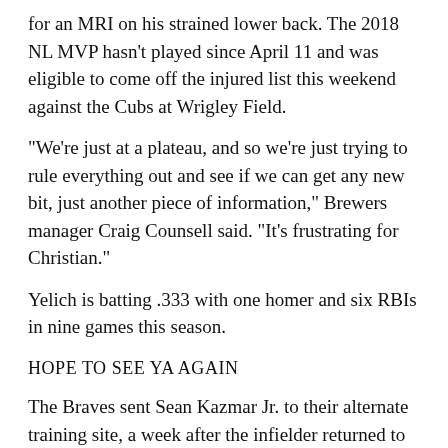for an MRI on his strained lower back. The 2018 NL MVP hasn't played since April 11 and was eligible to come off the injured list this weekend against the Cubs at Wrigley Field.
“We’re just at a plateau, and so we’re just trying to rule everything out and see if we can get any new bit, just another piece of information,” Brewers manager Craig Counsell said. “It’s frustrating for Christian.”
Yelich is batting .333 with one homer and six RBIs in nine games this season.
HOPE TO SEE YA AGAIN
The Braves sent Sean Kazmar Jr. to their alternate training site, a week after the infielder returned to the majors for the first time since 2008.
The 36-year-old Kazmar became an instant feel-good story when Atlanta brought him up to the big leagues. Kazmar hit .205 in 19 games for San Diego when he debuted 13 years